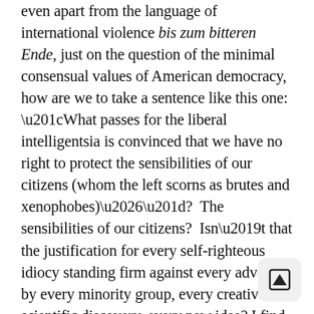even apart from the language of international violence bis zum bitteren Ende, just on the question of the minimal consensual values of American democracy, how are we to take a sentence like this one: “What passes for the liberal intelligentsia is convinced that we have no right to protect the sensibilities of our citizens (whom the left scorns as brutes and xenophobes)…”? The sensibilities of our citizens? Isn’t that the justification for every self-righteous idiocy standing firm against every advance by every minority group, every creative or scientific discovery, every new idea? I find it incredible to read such a tragicomically repugnant, unself-conscious statement in the virtual pages of a would-be respectable intellectual journal of political opinion. How